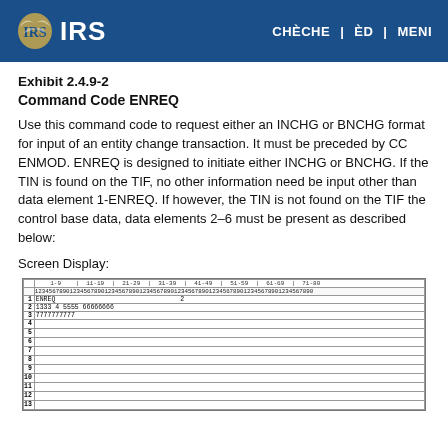IRS | CHÈCHE | ÈD | MENI
Exhibit 2.4.9-2
Command Code ENREQ
Use this command code to request either an INCHG or BNCHG format for input of an entity change transaction. It must be preceded by CC ENMOD. ENREQ is designed to initiate either INCHG or BNCHG. If the TIN is found on the TIF, no other information need be input other than data element 1-ENREQ. If however, the TIN is not found on the TIF the control base data, data elements 2–6 must be present as described below:
Screen Display:
[Figure (screenshot): Screen display form showing a terminal input grid with ruler rows, digit rows, and data rows numbered 1-13. Row 1 shows ENREQ and the number 2. Row 2 shows 1333 4 5555 66666666. Row 3 shows 7777777777. Rows 4-13 are empty.]